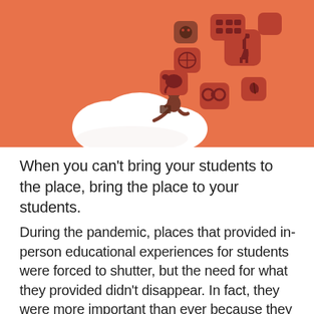[Figure (illustration): Orange background illustration showing a person sitting on a white cloud, using a tablet or phone, with various app icons floating upward including animals (elephant, giraffe, world map), binoculars, leaf, and other educational/nature icons.]
When you can't bring your students to the place, bring the place to your students.
During the pandemic, places that provided in-person educational experiences for students were forced to shutter, but the need for what they provided didn't disappear. In fact, they were more important than ever because they